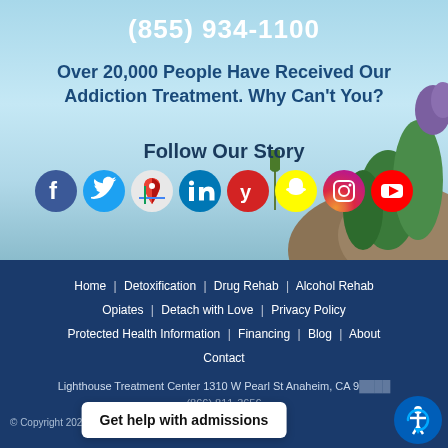(855) 934-1100
Over 20,000 People Have Received Our Addiction Treatment. Why Can't You?
Follow Our Story
[Figure (infographic): Row of 8 social media icons: Facebook, Twitter, Google Maps, LinkedIn, Yelp, Snapchat, Instagram, YouTube]
Home   Detoxification   Drug Rehab   Alcohol Rehab   Opiates   Detach with Love   Privacy Policy   Protected Health Information   Financing   Blog   About   Contact
Lighthouse Treatment Center 1310 W Pearl St Anaheim, CA 9[...]
(866) 811-3656
© Copyright 2022 Lighthou...
Get help with admissions